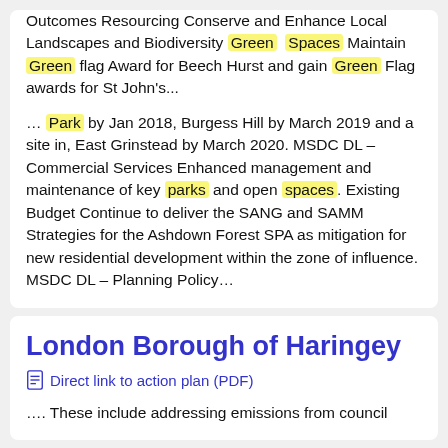Outcomes Resourcing Conserve and Enhance Local Landscapes and Biodiversity Green Spaces Maintain Green flag Award for Beech Hurst and gain Green Flag awards for St John's... ... Park by Jan 2018, Burgess Hill by March 2019 and a site in, East Grinstead by March 2020. MSDC DL – Commercial Services Enhanced management and maintenance of key parks and open spaces. Existing Budget Continue to deliver the SANG and SAMM Strategies for the Ashdown Forest SPA as mitigation for new residential development within the zone of influence. MSDC DL – Planning Policy...
London Borough of Haringey
Direct link to action plan (PDF)
.... These include addressing emissions from council